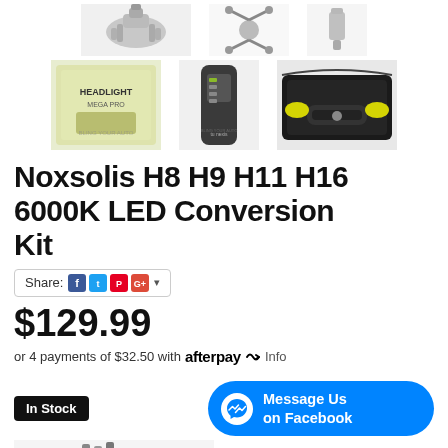[Figure (photo): Row of product thumbnail images - LED bulbs and accessories, top row]
[Figure (photo): Row of product thumbnail images - headlight kit box, remote, and car with headlights on, bottom row]
Noxsolis H8 H9 H11 H16 6000K LED Conversion Kit
Share: [Facebook] [Twitter] [Pinterest] [Google+]
$129.99
or 4 payments of $32.50 with afterpay Info
In Stock
[Figure (screenshot): Message Us on Facebook messenger button (blue pill shape)]
[Figure (photo): Partial product image at bottom of page]